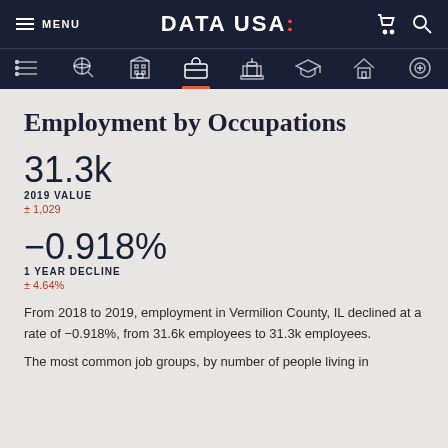DATA USA: — Navigation header with menu, icons
Employment by Occupations
31.3k
2019 VALUE
± 1,029
−0.918%
1 YEAR DECLINE
± 4.64%
From 2018 to 2019, employment in Vermilion County, IL declined at a rate of −0.918%, from 31.6k employees to 31.3k employees.
The most common job groups, by number of people living in